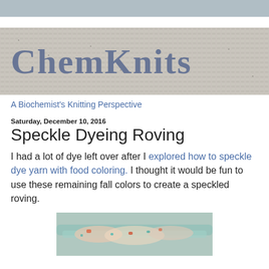[Figure (photo): ChemKnits blog banner: knitted fabric with 'ChemKnits' text knitted in blue on a gray/white background]
A Biochemist's Knitting Perspective
Saturday, December 10, 2016
Speckle Dyeing Roving
I had a lot of dye left over after I explored how to speckle dye yarn with food coloring.  I thought it would be fun to use these remaining fall colors to create a speckled roving.
[Figure (photo): Photo of speckle-dyed roving with fall colors (teal, orange, red) visible]